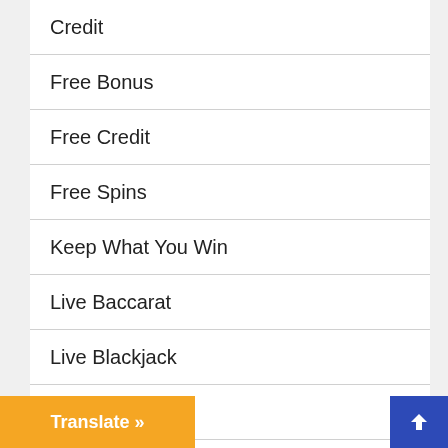Credit
Free Bonus
Free Credit
Free Spins
Keep What You Win
Live Baccarat
Live Blackjack
Live Casino
…sino